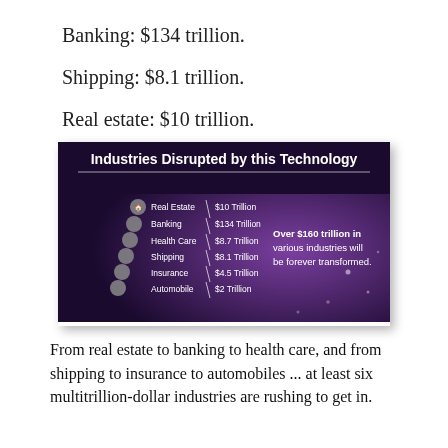Banking: $134 trillion.
Shipping: $8.1 trillion.
Real estate: $10 trillion.
[Figure (infographic): Industries Disrupted by this Technology. Lists: Real Estate $10 Trillion, Banking $134 Trillion, Health Care $8.7 Trillion, Shipping $8.1 Trillion, Insurance $4.5 Trillion, Automobile $2 Trillion. Text: Over $160 trillion in various industries will be forever transformed.]
From real estate to banking to health care, and from shipping to insurance to automobiles ... at least six multitrillion-dollar industries are rushing to get in.